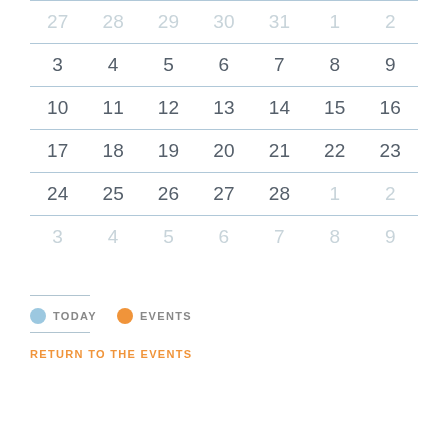| Sun | Mon | Tue | Wed | Thu | Fri | Sat |
| --- | --- | --- | --- | --- | --- | --- |
| 27 | 28 | 29 | 30 | 31 | 1 | 2 |
| 3 | 4 | 5 | 6 | 7 | 8 | 9 |
| 10 | 11 | 12 | 13 | 14 | 15 | 16 |
| 17 | 18 | 19 | 20 | 21 | 22 | 23 |
| 24 | 25 | 26 | 27 | 28 | 1 | 2 |
| 3 | 4 | 5 | 6 | 7 | 8 | 9 |
TODAY   EVENTS
RETURN TO THE EVENTS